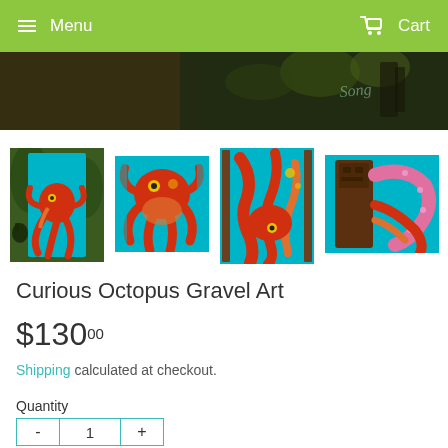Menu  Cart
[Figure (photo): Top banner: dark green/brown background with light graffiti-style text, partial view]
[Figure (photo): Thumbnail 1: Full vertical gravel art piece showing red octopus on teal background, displayed outdoors]
[Figure (photo): Thumbnail 2: Close-up of red octopus gravel art on teal background]
[Figure (photo): Thumbnail 3: Close-up detail of red octopus tentacles on teal background]
[Figure (photo): Thumbnail 4: Close-up detail showing tiki statue and pink/orange tentacles on teal background]
Curious Octopus Gravel Art
$130.00
Shipping calculated at checkout.
Quantity
- 1 +